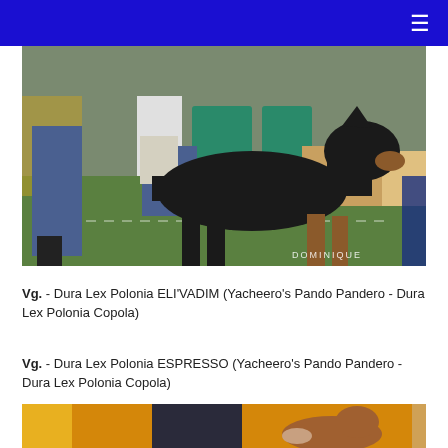[Figure (photo): A black and tan Doberman dog being shown at a dog show outdoors on grass. People's legs and chairs visible in background. Watermark 'DOMINIQUE' at bottom right.]
Vg. - Dura Lex Polonia ELI'VADIM (Yacheero's Pando Pandero - Dura Lex Polonia Copola)
Vg. - Dura Lex Polonia ESPRESSO (Yacheero's Pando Pandero - Dura Lex Polonia Copola)
[Figure (photo): Partial view of a dog show scene with an orange/yellow background, a person in dark clothing and a brown dog visible.]